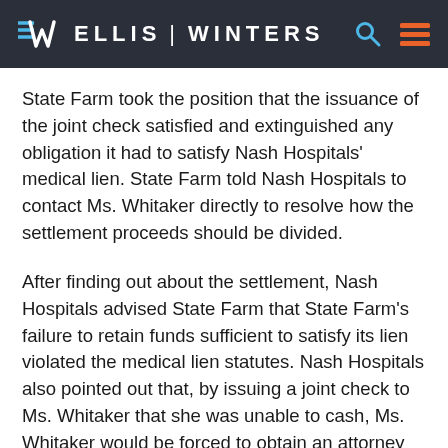ELLIS | WINTERS
State Farm took the position that the issuance of the joint check satisfied and extinguished any obligation it had to satisfy Nash Hospitals' medical lien. State Farm told Nash Hospitals to contact Ms. Whitaker directly to resolve how the settlement proceeds should be divided.
After finding out about the settlement, Nash Hospitals advised State Farm that State Farm's failure to retain funds sufficient to satisfy its lien violated the medical lien statutes. Nash Hospitals also pointed out that, by issuing a joint check to Ms. Whitaker that she was unable to cash, Ms. Whitaker would be forced to obtain an attorney and incur additional unnecessary